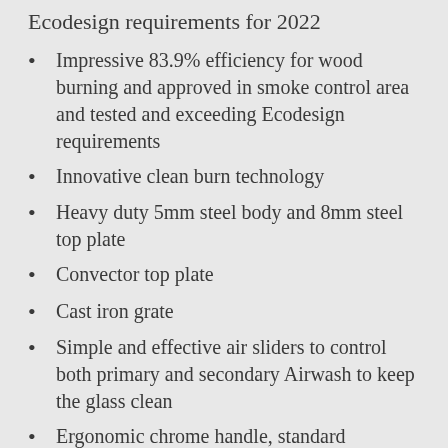Ecodesign requirements for 2022
Impressive 83.9% efficiency for wood burning and approved in smoke control area and tested and exceeding Ecodesign requirements
Innovative clean burn technology
Heavy duty 5mm steel body and 8mm steel top plate
Convector top plate
Cast iron grate
Simple and effective air sliders to control both primary and secondary Airwash to keep the glass clean
Ergonomic chrome handle, standard